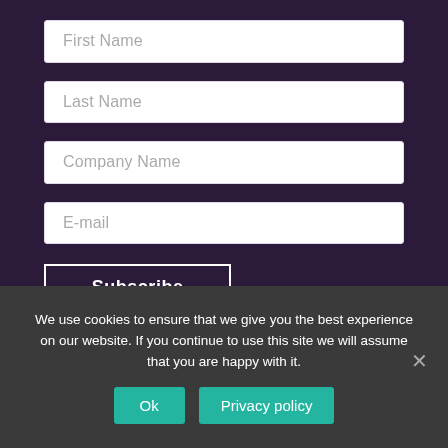First Name
Last Name
Company Name
E-mail
Subscribe
We use cookies to ensure that we give you the best experience on our website. If you continue to use this site we will assume that you are happy with it.
Ok
Privacy policy